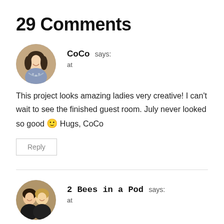29 Comments
[Figure (photo): Circular avatar photo of a woman (CoCo) with dark hair, smiling, wearing a patterned top]
CoCo says:
at
This project looks amazing ladies very creative! I can't wait to see the finished guest room. July never looked so good 🙂 Hugs, CoCo
Reply
[Figure (photo): Circular avatar photo of two women (2 Bees in a Pod), smiling, one with dark hair and one with blonde hair]
2 Bees in a Pod says:
at